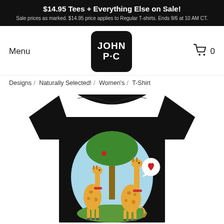$14.95 Tees + Everything Else on Sale!
Sale prices as marked. $14.95 price applies to Regular T-shirts. Ends 9/6 at 10 AM CT.
Menu
[Figure (logo): John P.C. logo: black rounded square with white bold text 'JOHN P.C.' and speech bubble tail]
0
Designs  /  Naturally Selected!  /  Women's  /  T-Shirt
[Figure (photo): Black women's t-shirt with illustrated design showing two giraffes next to an acacia tree, one giraffe holding a heart speech bubble, on a light blue oval background with green ground]